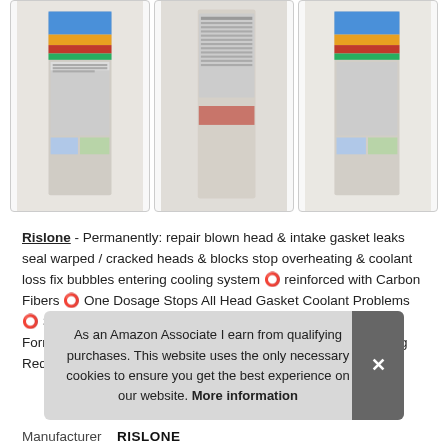[Figure (photo): Three product images of Rislone head gasket repair bottles shown from different angles, displayed in a row with light gray borders]
Rislone - Permanently: repair blown head & intake gasket leaks seal warped / cracked heads & blocks stop overheating & coolant loss fix bubbles entering cooling system 🔴 reinforced with Carbon Fibers 🔴 One Dosage Stops All Head Gasket Coolant Problems 🔴 Safe & Easy to Use, and Works Quickly 🔴 The Best Repair Formula Money Can Buy 🔴 Antifreeze Compatible, No Flushing Required.
As an Amazon Associate I earn from qualifying purchases. This website uses the only necessary cookies to ensure you get the best experience on our website. More information
Manufacturer RISLONE